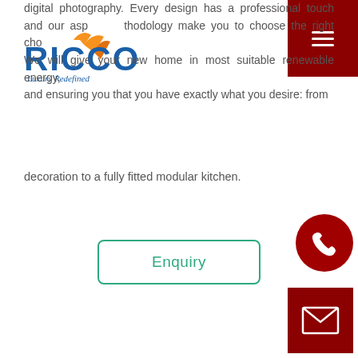[Figure (logo): Ricco logo with orange checkmark and blue text, tagline Luxury Redefined]
digital photography. Every design has a professional touch and our aspect methodology make you to choose the right choice. We will give your new home in most suitable renewable energy, and ensuring you that you have exactly what you desire: from decoration to a fully fitted modular kitchen.
Enquiry
[Figure (illustration): Red circular phone call button icon]
[Figure (illustration): Dark red square email/envelope button icon]